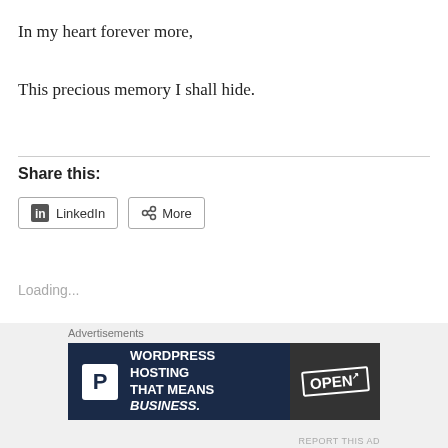In my heart forever more,

This precious memory I shall hide.
Share this:
[Figure (screenshot): Share buttons: LinkedIn button with LinkedIn icon and More button with share icon]
Loading...
April 11, 2019
3 Replies
[Figure (infographic): Advertisement banner: WordPress Hosting That Means Business with P logo and OPEN sign photo]